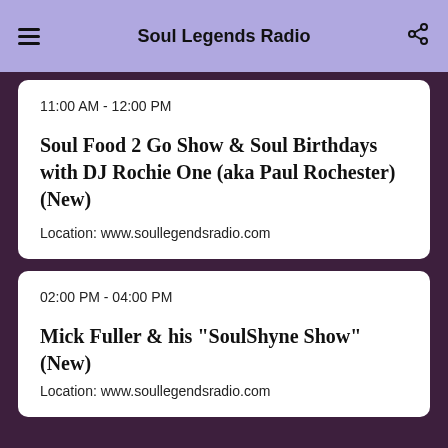Soul Legends Radio
11:00 AM - 12:00 PM
Soul Food 2 Go Show & Soul Birthdays with DJ Rochie One (aka Paul Rochester) (New)
Location: www.soullegendsradio.com
02:00 PM - 04:00 PM
Mick Fuller & his "SoulShyne Show" (New)
Location: www.soullegendsradio.com